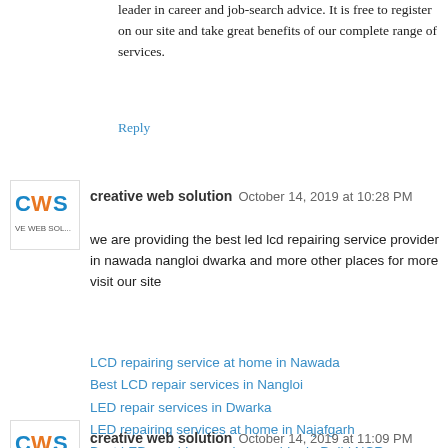leader in career and job-search advice. It is free to register on our site and take great benefits of our complete range of services.
Reply
[Figure (logo): Creative Web Solution logo - CWS initials with blue and orange design]
creative web solution October 14, 2019 at 10:28 PM
we are providing the best led lcd repairing service provider in nawada nangloi dwarka and more other places for more visit our site
LCD repairing service at home in Nawada
Best LCD repair services in Nangloi
LED repair services in Dwarka
LED repairing services at home in Najafgarh
Best LED repairing service provider in Delhi NCR
LCD repairing service in Uttam Nagar
Reply
[Figure (logo): Creative Web Solution logo - CWS initials with blue and orange design]
creative web solution October 14, 2019 at 11:09 PM